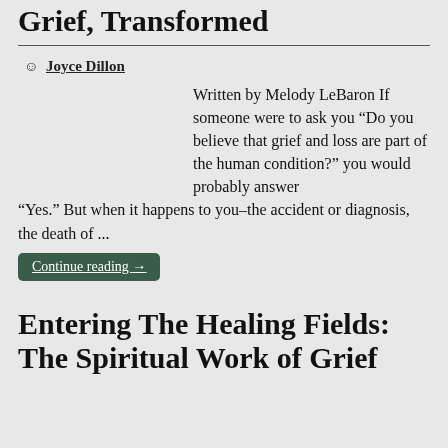Grief, Transformed
Joyce Dillon
Written by Melody LeBaron If someone were to ask you “Do you believe that grief and loss are part of the human condition?” you would probably answer “Yes.” But when it happens to you–the accident or diagnosis, the death of ...
Continue reading →
Entering The Healing Fields: The Spiritual Work of Grief